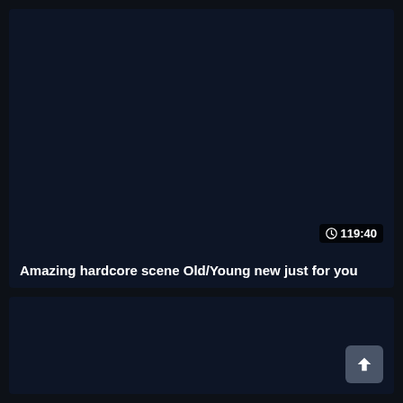[Figure (screenshot): Dark-themed video thumbnail card with a navy/dark background showing a duration badge '119:40' with a clock icon in the bottom right of the thumbnail area]
Amazing hardcore scene Old/Young new just for you
[Figure (screenshot): Second dark-themed video card area, mostly empty dark background with a scroll-to-top button (arrow up icon) in the bottom right corner]